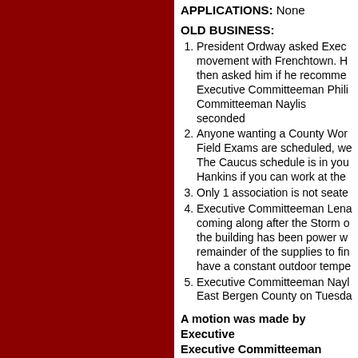APPLICATIONS: None
OLD BUSINESS:
President Ordway asked Executive Committeeman about movement with Frenchtown. He then asked him if he recommended. Executive Committeeman Phili... Committeeman Naylis seconded...
Anyone wanting a County Work... Field Exams are scheduled, we... The Caucus schedule is in you... Hankins if you can work at the...
Only 1 association is not seated
Executive Committeeman Lena... coming along after the Storm o... the building has been power w... remainder of the supplies to fin... have a constant outdoor tempe...
Executive Committeeman Nayl... East Bergen County on Tuesda...
A motion was made by Executive... Executive Committeeman Naylis to g... Passed
A motion was made by Executive... Committeeman Kelly to return to Reg...